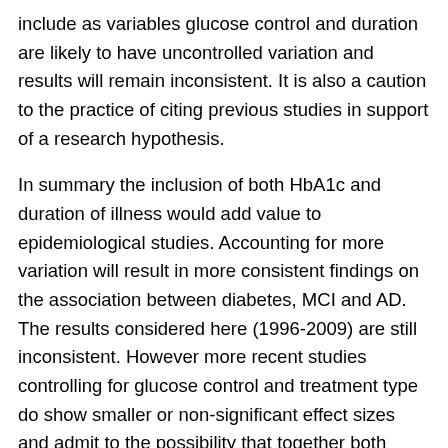include as variables glucose control and duration are likely to have uncontrolled variation and results will remain inconsistent. It is also a caution to the practice of citing previous studies in support of a research hypothesis.
In summary the inclusion of both HbA1c and duration of illness would add value to epidemiological studies. Accounting for more variation will result in more consistent findings on the association between diabetes, MCI and AD. The results considered here (1996-2009) are still inconsistent. However more recent studies controlling for glucose control and treatment type do show smaller or non-significant effect sizes and admit to the possibility that together both variables might reduce variability further. In